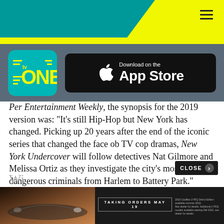TV One / App Store header with navigation
[Figure (logo): TV One app icon logo (teal background with ONE text and TV indicator lines) next to Download on the App Store badge]
Per Entertainment Weekly, the synopsis for the 2019 version was: “It’s still Hip-Hop but New York has changed. Picking up 20 years after the end of the iconic series that changed the face ob TV cop dramas, New York Undercover will follow detectives Nat Gilmore and Melissa Ortiz as they investigate the city’s most dangerous criminals from Harlem to Battery Park.”
[Figure (screenshot): Cadillac LYRIQ car advertisement - TAKING ORDERS MAY 19]